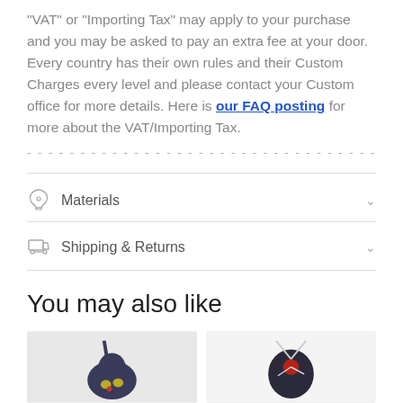"VAT" or "Importing Tax" may apply to your purchase and you may be asked to pay an extra fee at your door. Every country has their own rules and their Custom Charges every level and please contact your Custom office for more details. Here is our FAQ posting for more about the VAT/Importing Tax.
------------------------------------
Materials
Shipping & Returns
You may also like
[Figure (photo): Product image: dark figurine with yellow horn-like protrusion]
[Figure (photo): Product image: dark figurine with clock-like face and silver elements]